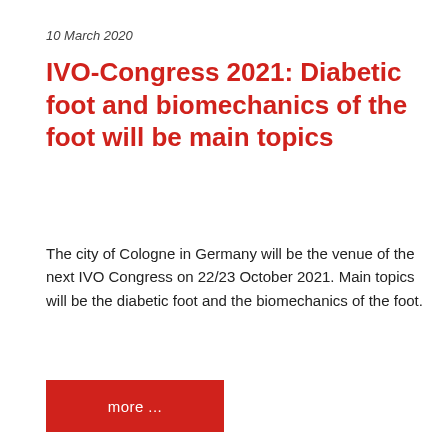10 March 2020
IVO-Congress 2021: Diabetic foot and biomechanics of the foot will be main topics
The city of Cologne in Germany will be the venue of the next IVO Congress on 22/23 October 2021. Main topics will be the diabetic foot and the biomechanics of the foot.
more ...
[Figure (photo): Close-up photo of a rubber stamp with blue ink pad and wooden handle, partially cropped at bottom of page]